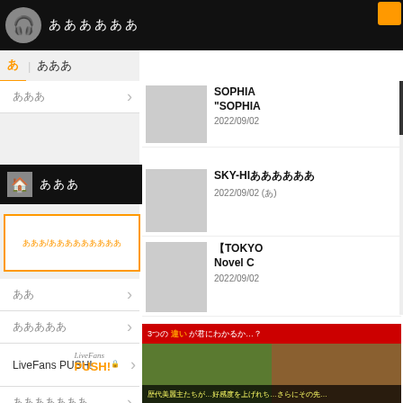[Figure (screenshot): Japanese music/entertainment website (LiveFans) with navigation menu on left and news items on right. Contains black nav bars with Japanese text, orange-bordered search box, menu items with arrows, LiveFans PUSH! section, and news article thumbnails on the right showing SOPHIA, SKY-HI, and TOKYO Novel C articles.]
ああああああ
あああ
あああ
ああ
あああああ
あああああああ
あああ
あああああああああ
ああああ
ああああ
あああ
LiveFans PUSH!
SOPHIA "SOPHIA 2022/09/02
SKY-HI 2022/09/02
【TOKYO Novel C 2022/09/02